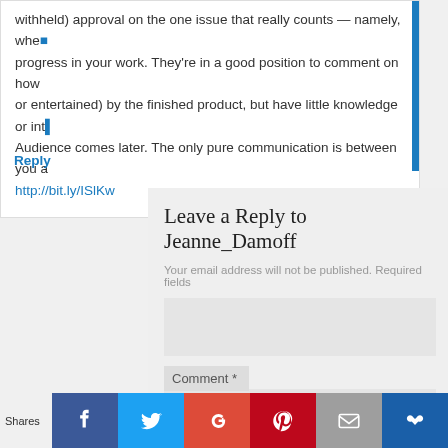withheld) approval on the one issue that really counts — namely, whether there is progress in your work. They're in a good position to comment on how they felt (moved or entertained) by the finished product, but have little knowledge or interest in craft. Audience comes later. The only pure communication is between you a
http://bit.ly/ISlKw
Reply
Leave a Reply to Jeanne_Damoff
Your email address will not be published. Required fields
Comment *
Shares